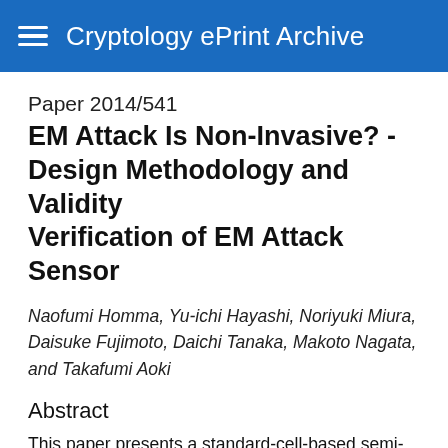Cryptology ePrint Archive
Paper 2014/541
EM Attack Is Non-Invasive? - Design Methodology and Validity Verification of EM Attack Sensor
Naofumi Homma, Yu-ichi Hayashi, Noriyuki Miura, Daisuke Fujimoto, Daichi Tanaka, Makoto Nagata, and Takafumi Aoki
Abstract
This paper presents a standard-cell-based semi-automatic design methodology of a new conceptual countermeasure against electromagnetic (EM) analysis and fault-injection